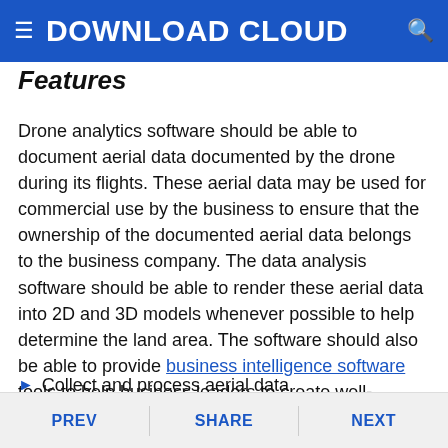DOWNLOAD CLOUD
Features
Drone analytics software should be able to document aerial data documented by the drone during its flights. These aerial data may be used for commercial use by the business to ensure that the ownership of the documented aerial data belongs to the business company. The data analysis software should be able to render these aerial data into 2D and 3D models whenever possible to help determine the land area. The software should also be able to provide business intelligence software tools to help business leaders to create well-informed decisions based on the documented aerial data. The
Collect and process aerial data
PREV   SHARE   NEXT